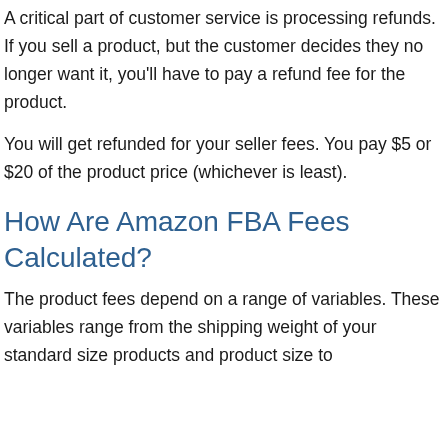A critical part of customer service is processing refunds. If you sell a product, but the customer decides they no longer want it, you'll have to pay a refund fee for the product.
You will get refunded for your seller fees. You pay $5 or $20 of the product price (whichever is least).
How Are Amazon FBA Fees Calculated?
The product fees depend on a range of variables. These variables range from the shipping weight of your standard size products and product size to